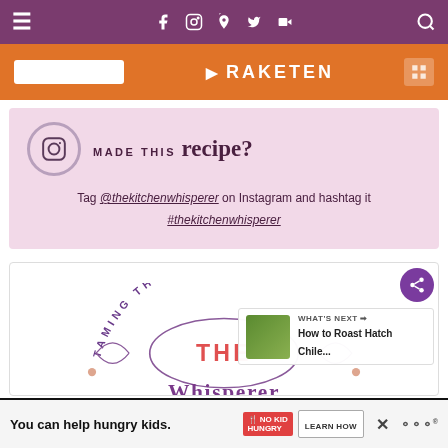Navigation bar with hamburger menu, social icons (Facebook, Instagram, Pinterest, Twitter, YouTube), and search icon
[Figure (screenshot): Orange newsletter/Rakuten banner strip]
MADE THIS recipe? Tag @thekitchenwhisperer on Instagram and hashtag it #thekitchenwhisperer
[Figure (logo): Taming The Kitchen Whisperer logo watermark in lower card section]
[Figure (screenshot): What's Next panel: How to Roast Hatch Chile...]
You can help hungry kids. NO KID HUNGRY LEARN HOW